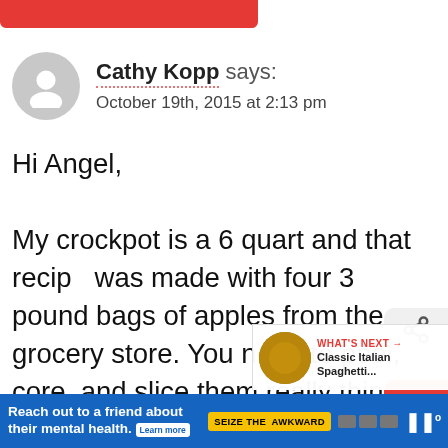Cathy Kopp says: October 19th, 2015 at 2:13 pm
Hi Angel,

My crockpot is a 6 quart and that recipe was made with four 3 pound bags of apples from the grocery store. You need to peel, core, and slice them really thin. Actually, I mounded them and when I put the lid on, it didn't sit quite properly but they cooked down soon enough for the lid to
WHAT'S NEXT → Classic Italian Spaghetti...
Reach out to a friend about their mental health. Learn more SEIZE THE AWKWARD